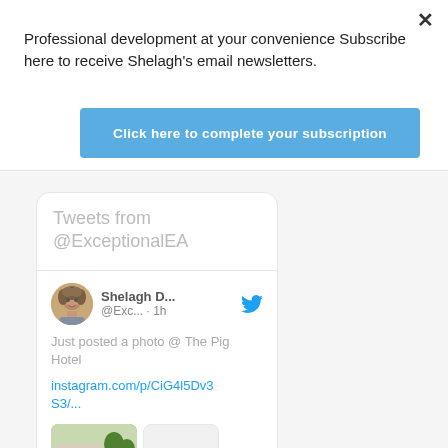Professional development at your convenience Subscribe here to receive Shelagh's email newsletters.
[Figure (screenshot): Blue subscription button labeled 'Click here to complete your subscription']
[Figure (screenshot): Twitter widget showing 'Tweets from @ExceptionalEA' with a tweet by Shelagh D... @Exc... · 1h saying 'Just posted a photo @ The Pig Hotel' with link instagram.com/p/CiG4l5Dv3S3/... and a thumbnail image]